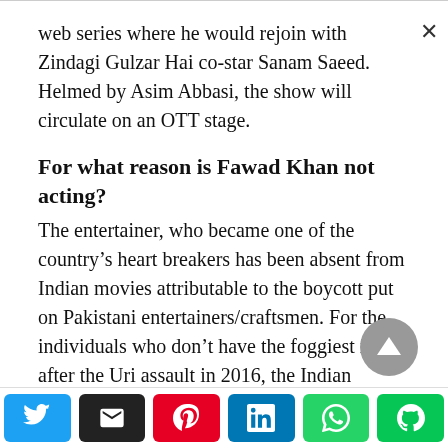web series where he would rejoin with Zindagi Gulzar Hai co-star Sanam Saeed. Helmed by Asim Abbasi, the show will circulate on an OTT stage.
For what reason is Fawad Khan not acting?
The entertainer, who became one of the country’s heart breakers has been absent from Indian movies attributable to the boycott put on Pakistani entertainers/craftsmen. For the individuals who don’t have the foggiest idea, after the Uri assault in 2016, the Indian Motion Picture